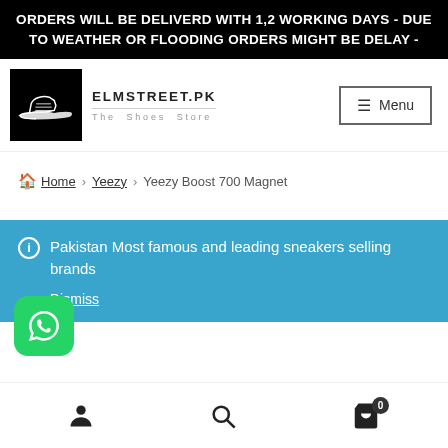ORDERS WILL BE DELIVERD WITH 1,2 WORKING DAYS - DUE TO WEATHER OR FLOODING ORDERS MIGHT BE DELAY -
[Figure (logo): Elmstreet.pk logo: black box with white shoe illustration, site name ELMSTREET.PK and tagline The Shoes Store]
Home > Yeezy > Yeezy Boost 700 Magnet
Pakistan Most famous and leading sneakers selling brands
Dismiss